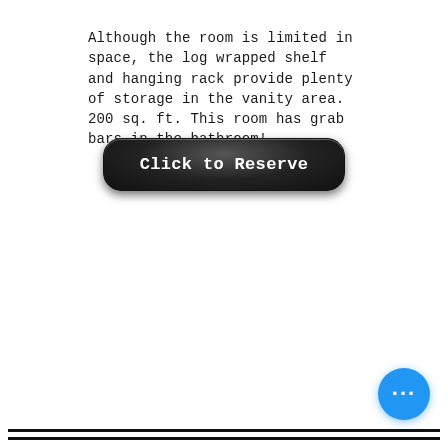Although the room is limited in space, the log wrapped shelf and hanging rack provide plenty of storage in the vanity area. 200 sq. ft. This room has grab bars in the bathroom!
[Figure (other): Black rounded rectangle button with white bold text reading 'Click to Reserve']
[Figure (other): Blue circular chat/menu button with three white dots in the bottom right corner]